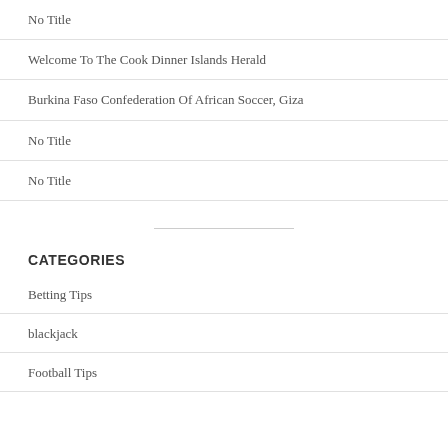No Title
Welcome To The Cook Dinner Islands Herald
Burkina Faso Confederation Of African Soccer, Giza
No Title
No Title
CATEGORIES
Betting Tips
blackjack
Football Tips